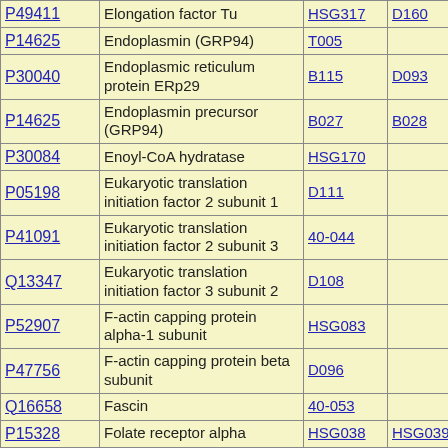| P49411 | Elongation factor Tu | HSG317 | D160 | D162 |
| P14625 | Endoplasmin (GRP94) | T005 |  |  |
| P30040 | Endoplasmic reticulum protein ERp29 | B115 | D093 |  |
| P14625 | Endoplasmin precursor (GRP94) | B027 | B028 |  |
| P30084 | Enoyl-CoA hydratase | HSG170 |  |  |
| P05198 | Eukaryotic translation initiation factor 2 subunit 1 | D111 |  |  |
| P41091 | Eukaryotic translation initiation factor 2 subunit 3 | 40-044 |  |  |
| Q13347 | Eukaryotic translation initiation factor 3 subunit 2 | D108 |  |  |
| P52907 | F-actin capping protein alpha-1 subunit | HSG083 |  |  |
| P47756 | F-actin capping protein beta subunit | D096 |  |  |
| Q16658 | Fascin | 40-053 |  |  |
| P15328 | Folate receptor alpha | HSG038 | HSG039 |  |
| P04075 | Fructose-bisphosphate aldolase A | 40-067 | HSG309 | HSG021 |
| P07954 | Fumarate hydratase | 40-061 |  |  |